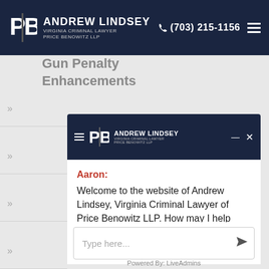Andrew Lindsey Virginia Criminal Lawyer Price Benowitz LLP | (703) 215-1156
Gun Penalty Enhancements
[Figure (screenshot): Chat widget overlay with Andrew Lindsey Price Benowitz LLP branding, showing a welcome message from Aaron]
Aaron: Welcome to the website of Andrew Lindsey, Virginia Criminal Lawyer of Price Benowitz LLP. How may I help you?
Type here...
Powered By: LiveAdmins